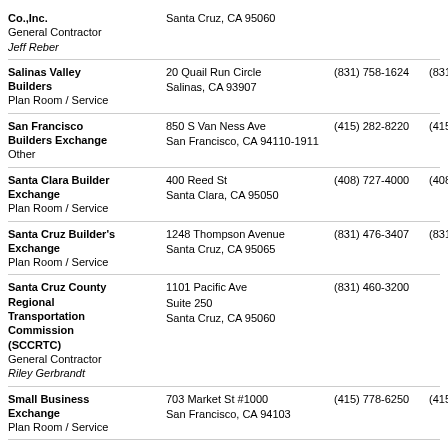Co.,Inc.
General Contractor
Jeff Reber | Santa Cruz, CA 95060
Salinas Valley Builders
Plan Room / Service | 20 Quail Run Circle, Salinas, CA 93907 | (831) 758-1624 | (831...
San Francisco Builders Exchange
Other | 850 S Van Ness Ave, San Francisco, CA 94110-1911 | (415) 282-8220 | (415...
Santa Clara Builder Exchange
Plan Room / Service | 400 Reed St, Santa Clara, CA 95050 | (408) 727-4000 | (408...
Santa Cruz Builder's Exchange
Plan Room / Service | 1248 Thompson Avenue, Santa Cruz, CA 95065 | (831) 476-3407 | (831...
Santa Cruz County Regional Transportation Commission (SCCRTC)
General Contractor
Riley Gerbrandt | 1101 Pacific Ave Suite 250, Santa Cruz, CA 95060 | (831) 460-3200
Small Business Exchange
Plan Room / Service | 703 Market St #1000, San Francisco, CA 94103 | (415) 778-6250 | (415...
Valley Builders Exchange
Plan Room / Service
Karen Bowden | 1118 Kansas Ave PO BOX 4307, Modesto, CA 95352 | (209) 522-9031 | (209...